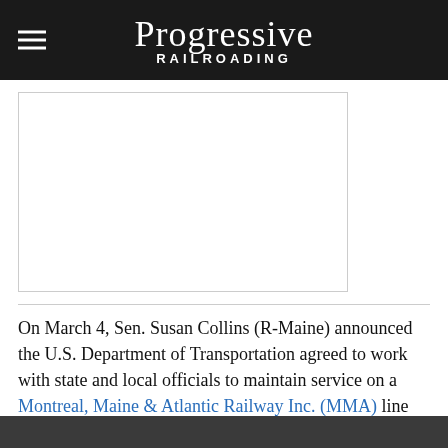Progressive Railroading
[Figure (other): Advertisement placeholder box]
On March 4, Sen. Susan Collins (R-Maine) announced the U.S. Department of Transportation agreed to work with state and local officials to maintain service on a Montreal, Maine & Atlantic Railway Inc. (MMA) line that's slated for abandonment. The Federal Railroad Administration will work with the state to develop a plan to keep the northern Maine route open for 22...